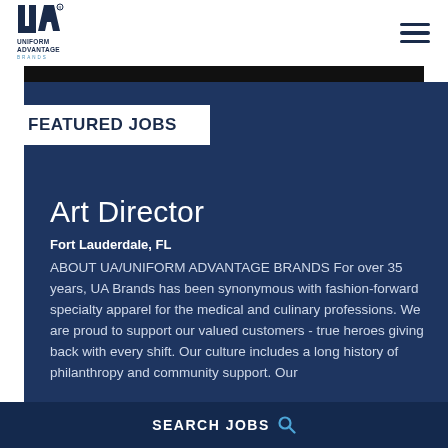[Figure (logo): Uniform Advantage Brands logo — UA letters above 'UNIFORM ADVANTAGE BRANDS' text]
FEATURED JOBS
Art Director
Fort Lauderdale, FL
ABOUT UA/UNIFORM ADVANTAGE BRANDS For over 35 years, UA Brands has been synonymous with fashion-forward specialty apparel for the medical and culinary professions. We are proud to support our valued customers - true heroes giving back with every shift. Our culture includes a long history of philanthropy and community support. Our
SEARCH JOBS